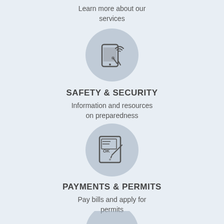Learn more about our services
[Figure (illustration): Circle icon with smartphone and wireless signal graphic]
SAFETY & SECURITY
Information and resources on preparedness
[Figure (illustration): Circle icon with tablet/document and pen/signature graphic]
PAYMENTS & PERMITS
Pay bills and apply for permits
[Figure (illustration): Circle icon with water faucet/tap graphic]